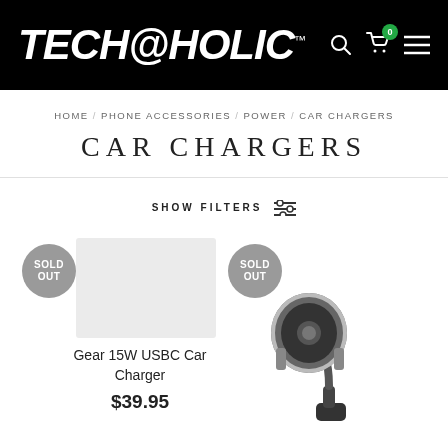[Figure (logo): Techaholic logo in white bold italic text on black background with TM mark]
HOME / PHONE ACCESSORIES / POWER / CAR CHARGERS
CAR CHARGERS
SHOW FILTERS
Gear 15W USBC Car Charger $39.95 SOLD OUT
[Figure (photo): Car charger mount product photo, black device on dashboard mount, SOLD OUT badge]